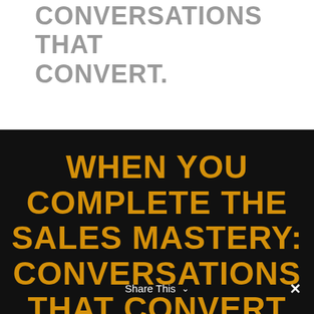CONVERSATIONS THAT CONVERT.
WHEN YOU COMPLETE THE SALES MASTERY: CONVERSATIONS THAT CONVERT YOU
Share This